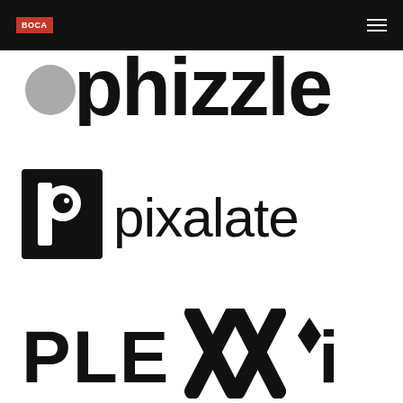[Figure (logo): Navigation bar with BOCA red square logo on left and hamburger menu icon on right, black background]
[Figure (logo): Phizzle logo - large bold lowercase text 'phizzle' in black with a grey circle/dot to the left of the p, partially cropped at top]
[Figure (logo): Pixalate logo - black square icon with stylized lowercase p containing a clock/target circle, followed by text 'pixalate' in black sans-serif]
[Figure (logo): PLEXXI logo - bold uppercase black text 'PLEXXI' with large X shapes crossed in the middle of the word]